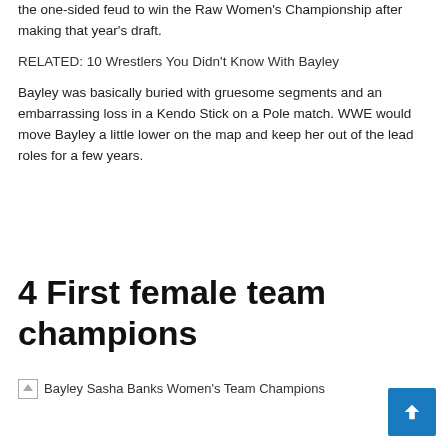the one-sided feud to win the Raw Women's Championship after making that year's draft.
RELATED: 10 Wrestlers You Didn't Know With Bayley
Bayley was basically buried with gruesome segments and an embarrassing loss in a Kendo Stick on a Pole match. WWE would move Bayley a little lower on the map and keep her out of the lead roles for a few years.
4 First female team champions
[Figure (photo): Bayley Sasha Banks Women's Team Champions - broken image placeholder with alt text]
[Figure (other): Blue scroll-to-top button with upward arrow icon in bottom right corner]